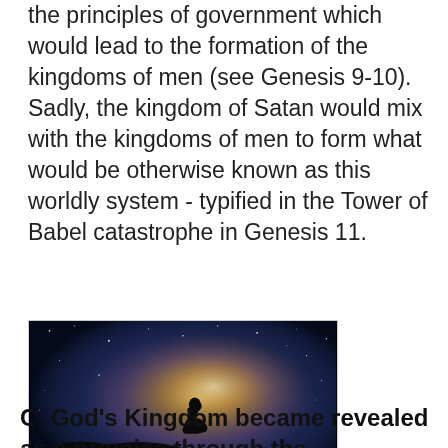the principles of government which would lead to the formation of the kingdoms of men (see Genesis 9-10). Sadly, the kingdom of Satan would mix with the kingdoms of men to form what would be otherwise known as this worldly system - typified in the Tower of Babel catastrophe in Genesis 11.
[Figure (photo): A silhouette of a person standing on a rocky hilltop looking up at a dramatic night sky showing the Milky Way galaxy with stars and a glowing galactic core.]
C. God's Kingdom became revealed as a promise through the